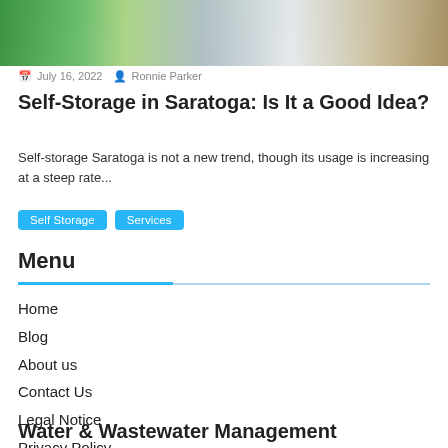[Figure (photo): Photo of a self-storage facility interior with green walls and cardboard boxes]
July 16, 2022   Ronnie Parker
Self-Storage in Saratoga: Is It a Good Idea?
Self-storage Saratoga is not a new trend, though its usage is increasing at a steep rate...
Self Storage
Services
Menu
Home
Blog
About us
Contact Us
Legal Notice
Privacy Policy
Water & Wastewater Management